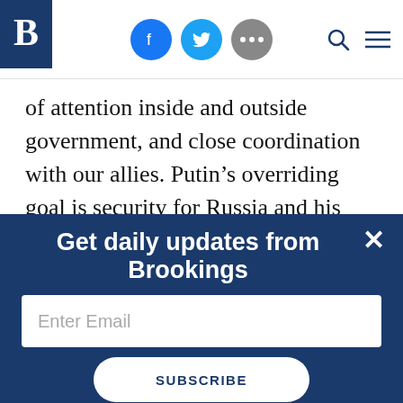Brookings Institution website header with logo, social icons (Facebook, Twitter, more), search and menu icons
of attention inside and outside government, and close coordination with our allies. Putin’s overriding goal is security for Russia and his system. We are talking today about deterring Russia, but Putin and his security team firmly believe they are deterring us—the United States and NATO—to protect themselves and Russian interests. Russia’s military
Get daily updates from Brookings
Enter Email
SUBSCRIBE